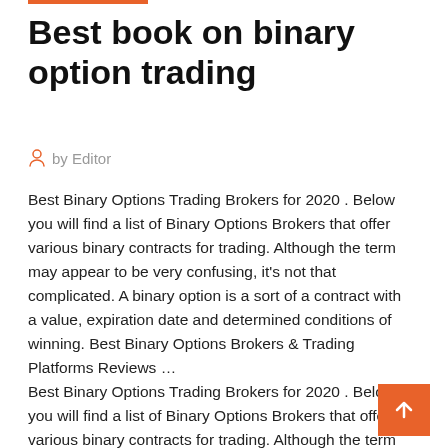Best book on binary option trading
by Editor
Best Binary Options Trading Brokers for 2020 . Below you will find a list of Binary Options Brokers that offer various binary contracts for trading. Although the term may appear to be very confusing, it's not that complicated. A binary option is a sort of a contract with a value, expiration date and determined conditions of winning. Best Binary Options Brokers & Trading Platforms Reviews …
Best Binary Options Trading Brokers for 2020 . Below you will find a list of Binary Options Brokers that offer various binary contracts for trading. Although the term may appear to be very confusing, it's not that complicated. A binary option is a sort of a contract with a value, expiration date and determined conditions of winning. Best Binary Options Brokers & Trading Platforms Reviews Best Binary Options Brokers And Tradi…